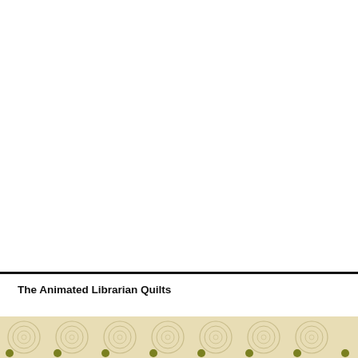The Animated Librarian Quilts
[Figure (illustration): Decorative footer band with cream/tan background featuring circular spiral pattern motifs, with olive/dark yellow-green dot accents evenly spaced along the bottom edge of the page.]